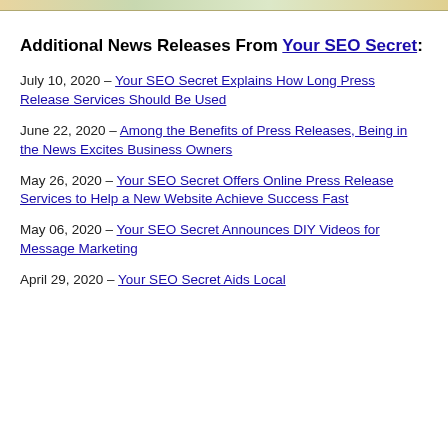[Figure (map): Partial map strip visible at top of page]
Additional News Releases From Your SEO Secret:
July 10, 2020 – Your SEO Secret Explains How Long Press Release Services Should Be Used
June 22, 2020 – Among the Benefits of Press Releases, Being in the News Excites Business Owners
May 26, 2020 – Your SEO Secret Offers Online Press Release Services to Help a New Website Achieve Success Fast
May 06, 2020 – Your SEO Secret Announces DIY Videos for Message Marketing
April 29, 2020 – Your SEO Secret Aids Local